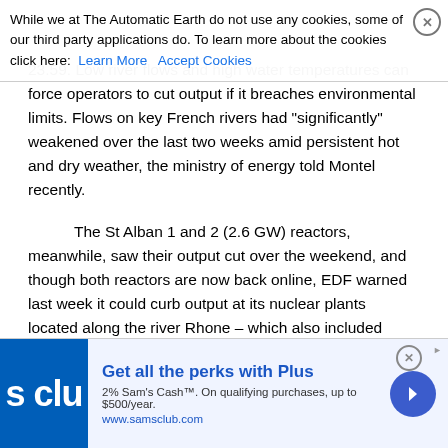While we at The Automatic Earth do not use any cookies, some of our third party applications do. To learn more about the cookies click here: Learn More  Accept Cookies
23.59. Low river flows and high water temperatures can force operators to cut output if it breaches environmental limits. Flows on key French rivers had "significantly" weakened over the last two weeks amid persistent hot and dry weather, the ministry of energy told Montel recently.
The St Alban 1 and 2 (2.6 GW) reactors, meanwhile, saw their output cut over the weekend, and though both reactors are now back online, EDF warned last week it could curb output at its nuclear plants located along the river Rhone – which also included Bugey (3.7 GW) – due to declining flows amid the hot weather. The temperature of the Rhone around St Alban and Tricast in was currently 26C, while it was 23.4C at Bugey, estimates from Montel's Energy Quantified showed, with 28C deemed unsafe. French TSO RTE expected power demand to peak at 59.4 GW on Thursday and 58.6 GW on Friday, with a surge
[Figure (infographic): Sam's Club advertisement banner: 'Get all the perks with Plus', 2% Sam's Cash on qualifying purchases up to $500/year, www.samsclub.com]